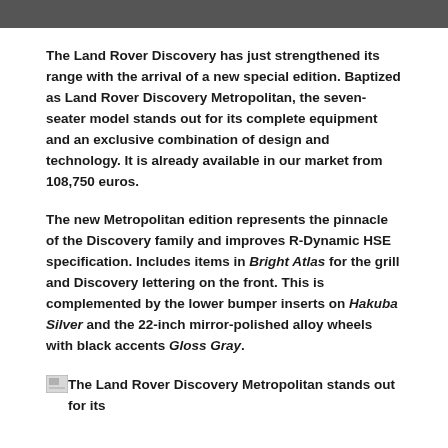[Figure (photo): Partial photo strip at top of page showing a dark image of a Land Rover Discovery vehicle]
The Land Rover Discovery has just strengthened its range with the arrival of a new special edition. Baptized as Land Rover Discovery Metropolitan, the seven-seater model stands out for its complete equipment and an exclusive combination of design and technology. It is already available in our market from 108,750 euros.
The new Metropolitan edition represents the pinnacle of the Discovery family and improves R-Dynamic HSE specification. Includes items in Bright Atlas for the grill and Discovery lettering on the front. This is complemented by the lower bumper inserts on Hakuba Silver and the 22-inch mirror-polished alloy wheels with black accents Gloss Gray.
The Land Rover Discovery Metropolitan stands out for its